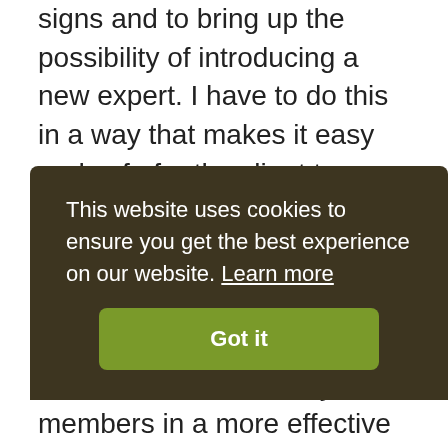signs and to bring up the possibility of introducing a new expert. I have to do this in a way that makes it easy and safe for the client to entertain this new idea. I will usually talk about how sometimes a different style of communication or a different skill set might really help the client to move forward. I will talk about my wonderful network of skilled professionals and how I trust them and feel confident about making introductions. I will sometimes, if it seems appropriate, talk about how I'll still be here, helping in other ways, but that I may not
with
some of the male family members in a more effective
This website uses cookies to ensure you get the best experience on our website. Learn more
Got it